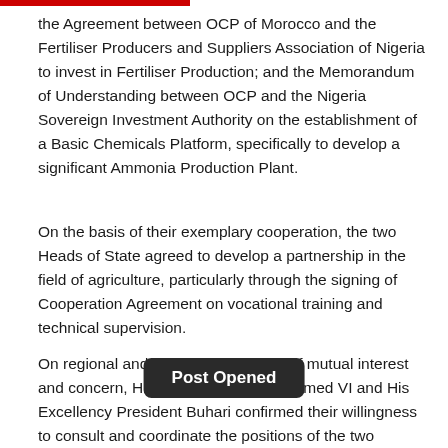the Agreement between OCP of Morocco and the Fertiliser Producers and Suppliers Association of Nigeria to invest in Fertiliser Production; and the Memorandum of Understanding between OCP and the Nigeria Sovereign Investment Authority on the establishment of a Basic Chemicals Platform, specifically to develop a significant Ammonia Production Plant.
On the basis of their exemplary cooperation, the two Heads of State agreed to develop a partnership in the field of agriculture, particularly through the signing of Cooperation Agreement on vocational training and technical supervision.
On regional and international issues of mutual interest and concern, His Majesty King Mohammed VI and His Excellency President Buhari confirmed their willingness to consult and coordinate the positions of the two